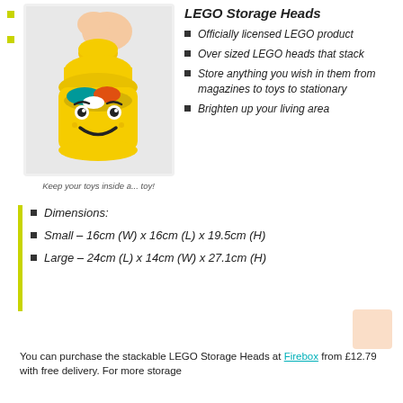[Figure (photo): Yellow LEGO storage head with lid being lifted by a hand, filled with colorful toys inside, showing LEGO minifigure face on the front]
Keep your toys inside a... toy!
LEGO Storage Heads
Officially licensed LEGO product
Over sized LEGO heads that stack
Store anything you wish in them from magazines to toys to stationary
Brighten up your living area
Dimensions:
Small – 16cm (W) x 16cm (L) x 19.5cm (H)
Large – 24cm (L) x 14cm (W) x 27.1cm (H)
You can purchase the stackable LEGO Storage Heads at Firebox from £12.79 with free delivery. For more storage